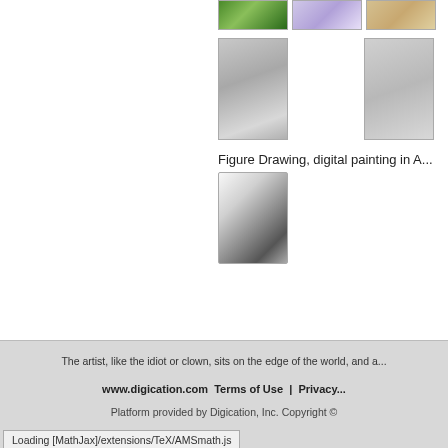[Figure (photo): Three thumbnail images in a row at top: a green plant/nature photo, a purple figure sketch, and a tan/golden colored image]
[Figure (photo): Two thumbnail sketches of figure drawings from the back — one detailed charcoal back view, one lighter sketch]
Figure Drawing, digital painting in A...
[Figure (illustration): A charcoal or digital sketch of a crouching or hunched figure, loosely rendered in dark tones on white]
The artist, like the idiot or clown, sits on the edge of the world, and a...
www.digication.com  Terms of Use  |  Privacy...
Platform provided by Digication, Inc. Copyright ©
Loading [MathJax]/extensions/TeX/AMSmath.js